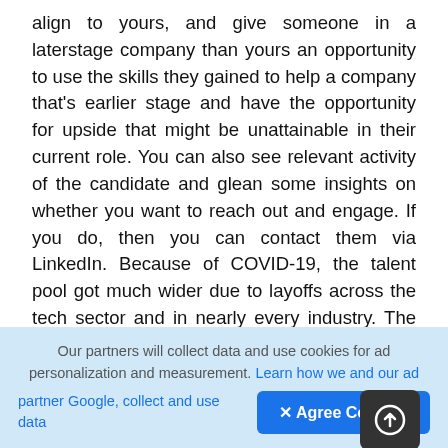align to yours, and give someone in a laterstage company than yours an opportunity to use the skills they gained to help a company that's earlier stage and have the opportunity for upside that might be unattainable in their current role. You can also see relevant activity of the candidate and glean some insights on whether you want to reach out and engage. If you do, then you can contact them via LinkedIn. Because of COVID-19, the talent pool got much wider due to layoffs across the tech sector and in nearly every industry. The general rule of thumb that the best candidates aren't looking for job opportunities isn't necessarily true now, because candidates were getting let go not because of performance but because of steep cuts.
Our partners will collect data and use cookies for ad personalization and measurement. Learn how we and our ad partner Google, collect and use data